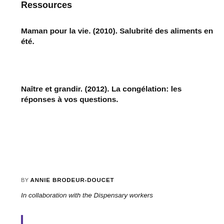Ressources
Maman pour la vie. (2010). Salubrité des aliments en été.
Naître et grandir. (2012). La congélation: les réponses à vos questions.
BY ANNIE BRODEUR-DOUCET
In collaboration with the Dispensary workers